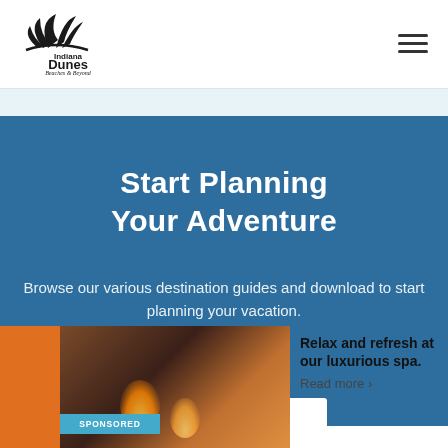[Figure (logo): Indiana Dunes Beaches & Beyond logo with stylized palm/grass silhouette]
Start Planning Your Adventure
Browse our various destination guides and download to start planning your vacation.
[Figure (photo): Spa scene with candles and plants, warm amber lighting]
SPONSORED
Relax and refresh at our luxurious spa.
Read more ›